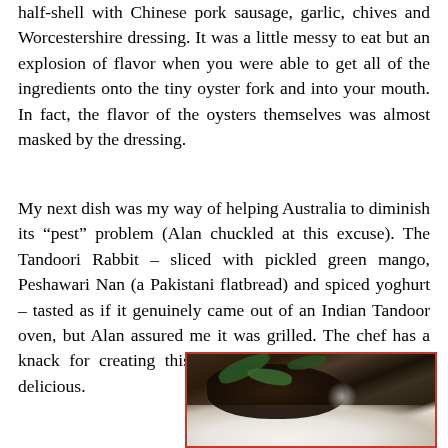half-shell with Chinese pork sausage, garlic, chives and Worcestershire dressing. It was a little messy to eat but an explosion of flavor when you were able to get all of the ingredients onto the tiny oyster fork and into your mouth. In fact, the flavor of the oysters themselves was almost masked by the dressing.
My next dish was my way of helping Australia to diminish its “pest” problem (Alan chuckled at this excuse). The Tandoori Rabbit – sliced with pickled green mango, Peshawari Nan (a Pakistani flatbread) and spiced yoghurt – tasted as if it genuinely came out of an Indian Tandoor oven, but Alan assured me it was grilled. The chef has a knack for creating this illusion and it was tender and delicious.
[Figure (photo): A photograph of a dish on a white plate, showing dark food items with green leaves/herbs, set against a dark restaurant background. Red border frame around the photo.]